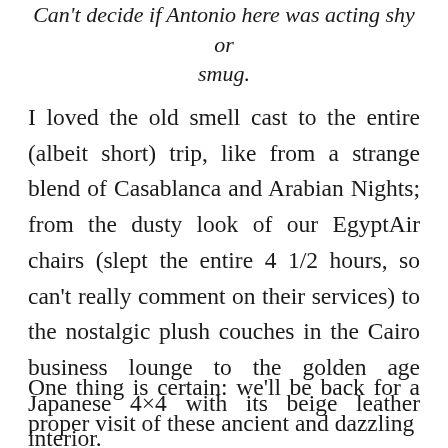Can't decide if Antonio here was acting shy or smug.
I loved the old smell cast to the entire (albeit short) trip, like from a strange blend of Casablanca and Arabian Nights; from the dusty look of our EgyptAir chairs (slept the entire 4 1/2 hours, so can't really comment on their services) to the nostalgic plush couches in the Cairo business lounge to the golden age Japanese 4×4 with its beige leather interior.
One thing is certain: we'll be back for a proper visit of these ancient and dazzling